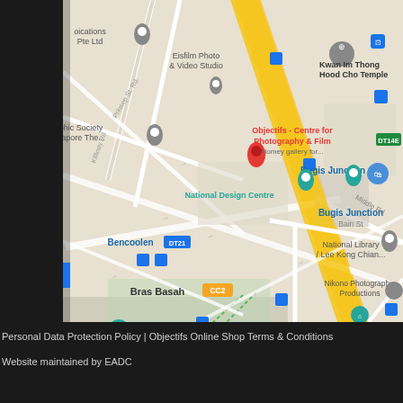[Figure (map): Google Maps screenshot showing the area around Objectifs - Centre for Photography & Film in Singapore, near Bugis Junction. Notable landmarks include Kwan Im Thong Hood Cho Temple, National Design Centre, National Library / Lee Kong Chian, Bras Basah (CC2), Bencoolen (DT21), MINT Museum of Toys, and artcommune gallery. A yellow diagonal road runs through the map. MRT station icons and bus stop icons are visible.]
Personal Data Protection Policy | Objectifs Online Shop Terms & Conditions
Website maintained by EADC